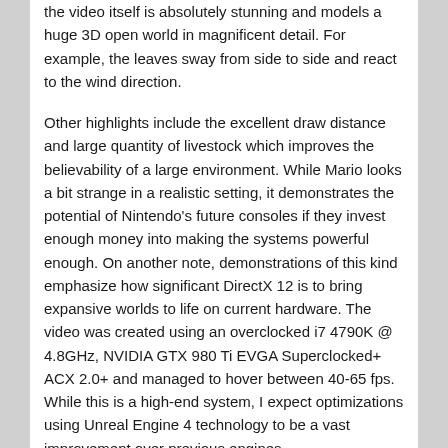the video itself is absolutely stunning and models a huge 3D open world in magnificent detail. For example, the leaves sway from side to side and react to the wind direction.
Other highlights include the excellent draw distance and large quantity of livestock which improves the believability of a large environment. While Mario looks a bit strange in a realistic setting, it demonstrates the potential of Nintendo's future consoles if they invest enough money into making the systems powerful enough. On another note, demonstrations of this kind emphasize how significant DirectX 12 is to bring expansive worlds to life on current hardware. The video was created using an overclocked i7 4790K @ 4.8GHz, NVIDIA GTX 980 Ti EVGA Superclocked+ ACX 2.0+ and managed to hover between 40-65 fps. While this is a high-end system, I expect optimizations using Unreal Engine 4 technology to be a vast improvement over previous engines.
Are you excited for future games to implement DirectX 12 functionality?